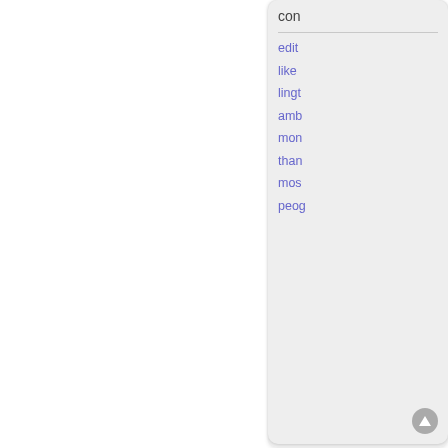con
edit
like
ling (lingt)
amb
mon
than
mos
peop (peog)
[Figure (screenshot): Forum post card showing user avatar with pink and green design displaying number 10, username 'Clarissa the Happy and Cheerful Robot', role 'Bureaucrat', Posts: 48, Founded: Feb 14 2019, Democratic Socialists, with a QUOTE button and post timestamp Fri Feb 15, 2019 3:10 am, and post beginning 'Ah ok...']